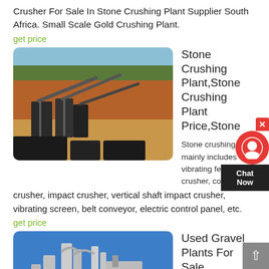Crusher For Sale In Stone Crushing Plant Supplier South Africa. Small Scale Gold Crushing Plant.
get price
[Figure (photo): Outdoor photo of stone crushing plant machinery on a dirt site with red clay hillside and trees in background]
Stone Crushing Plant,Stone Crushing Plant Price,Stone
Stone crushing pla... mainly includes vibrating feeder, jaw crusher, cone crusher, impact crusher, vertical shaft impact crusher, vibrating screen, belt conveyor, electric control panel, etc.
get price
[Figure (photo): Used gravel plant equipment against a blue sky background]
Used Gravel Plants For Sale Worldcrushers
Sep 13, 2013 gravel plant for sale, used